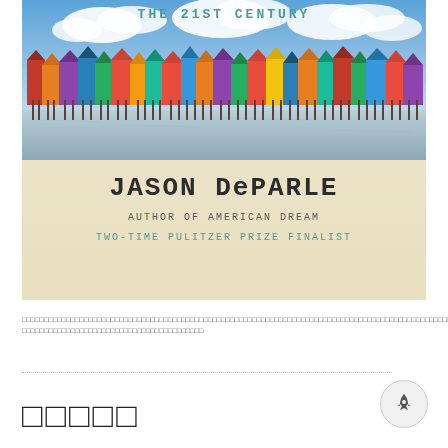[Figure (photo): Book cover of a work by Jason DeParle. Top portion shows a photograph of colorful stilt houses along a waterfront under a blue sky with clouds. Below the photo the cover reads 'THE 21ST CENTURY' at the top, then 'JASON DePARLE', 'AUTHOR OF AMERICAN DREAM', 'TWO-TIME PULITZER PRIZE FINALIST'.]
□□□□□□□□□□□□□□□□□□□□□□□□□□□□□□□□□□□□□□□□□□□□□□□□□□□□□□□□□□□□□□□□□□□□□□□□□□□□□□ □□□□□□□□□□□□□□□□□□□□□□□□□□□□□□□□□□□□□□□□□
□□□□□